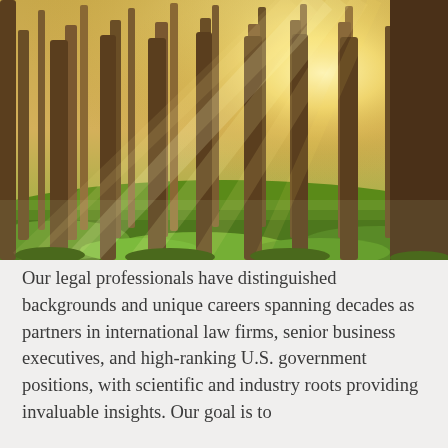[Figure (photo): Sunlit forest with tall trees and golden rays of light streaming through the canopy onto a mossy green forest floor]
Our legal professionals have distinguished backgrounds and unique careers spanning decades as partners in international law firms, senior business executives, and high-ranking U.S. government positions, with scientific and industry roots providing invaluable insights. Our goal is to